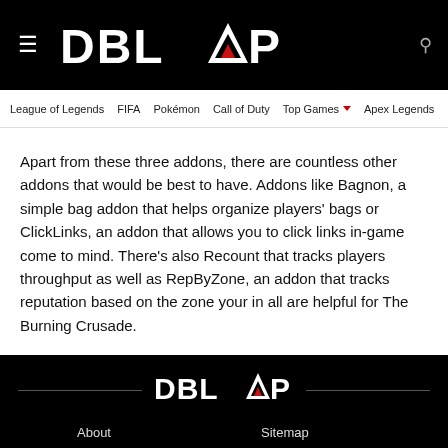DBLTAP
League of Legends  FIFA  Pokémon  Call of Duty  Top Games  Apex Legends  Overwatch
Apart from these three addons, there are countless other addons that would be best to have. Addons like Bagnon, a simple bag addon that helps organize players' bags or ClickLinks, an addon that allows you to click links in-game come to mind. There's also Recount that tracks players throughput as well as RepByZone, an addon that tracks reputation based on the zone your in all are helpful for The Burning Crusade.
DBLTAP
About  Sitemap  Privacy Policy  Cookie Policy